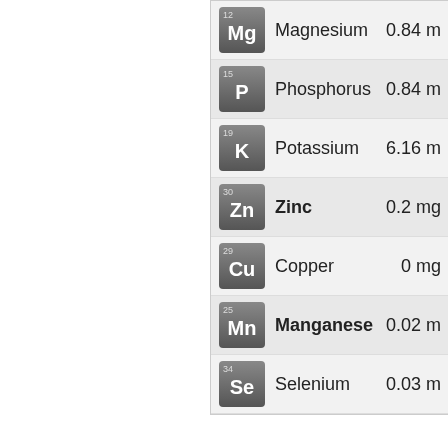| Element | Name | Amount |
| --- | --- | --- |
| Mg (12) | Magnesium | 0.84 m |
| P (15) | Phosphorus | 0.84 m |
| K (19) | Potassium | 6.16 m |
| Zn (30) | Zinc | 0.2 mg |
| Cu (29) | Copper | 0 mg |
| Mn (25) | Manganese | 0.02 m |
| Se (34) | Selenium | 0.03 m |